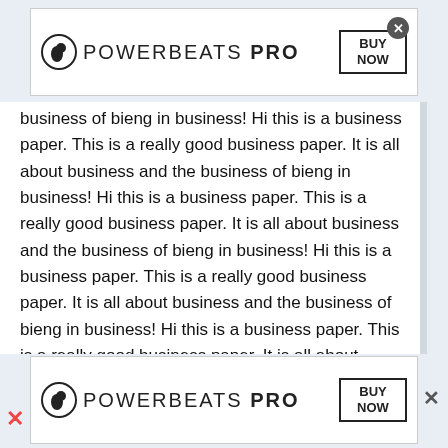[Figure (other): Beats Powerbeats Pro advertisement banner (top) with beats logo, POWERBEATS PRO text, BUY NOW box, and close X button]
business of bieng in business! Hi this is a business paper. This is a really good business paper. It is all about business and the business of bieng in business! Hi this is a business paper. This is a really good business paper. It is all about business and the business of bieng in business! Hi this is a business paper. This is a really good business paper. It is all about business and the business of bieng in business! Hi this is a business paper. This is a really good business paper. It is all about business and the business of bieng in business! Hi this is a business paper. This is a really good business paper. It is all about business and the business of bieng in business! Hi this is a business paper. This is a really good business paper. It is all about business and the
[Figure (other): Beats Powerbeats Pro advertisement banner (bottom) with beats logo, POWERBEATS PRO text, BUY NOW box]